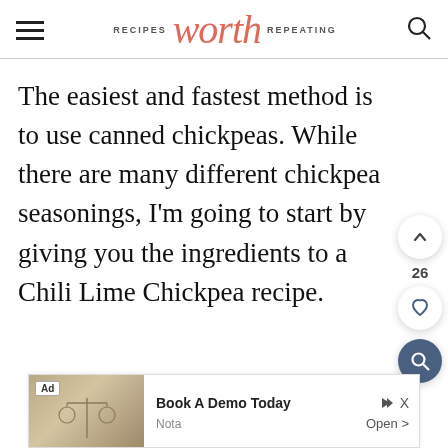RECIPES worth REPEATING
The easiest and fastest method is to use canned chickpeas. While there are many different chickpea seasonings, I'm going to start by giving you the ingredients to a Chili Lime Chickpea recipe.
[Figure (other): Ad banner at bottom with image of scales/legal items, 'Book A Demo Today' text, labeled 'Ad', with 'Nota' and 'Open' text]